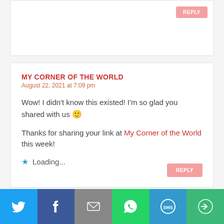REPLY
MY CORNER OF THE WORLD
August 22, 2021 at 7:09 pm
Wow! I didn't know this existed! I'm so glad you shared with us 🙂
Thanks for sharing your link at My Corner of the World this week!
Loading...
REPLY
[Figure (infographic): Social sharing bar with icons: Twitter (blue), Facebook (dark blue), Email (grey), WhatsApp (green), SMS (blue), More (teal/green)]